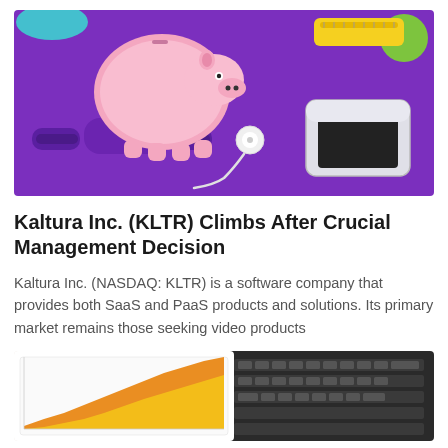[Figure (photo): Photo of a pink piggy bank, purple dumbbells, white earbuds, a white smartphone, yellow measuring tape, and a green ball on a purple background.]
Kaltura Inc. (KLTR) Climbs After Crucial Management Decision
Kaltura Inc. (NASDAQ: KLTR) is a software company that provides both SaaS and PaaS products and solutions. Its primary market remains those seeking video products
[Figure (photo): Photo of bar/area charts on a tablet screen showing orange and yellow rising data, with a laptop keyboard in the background.]